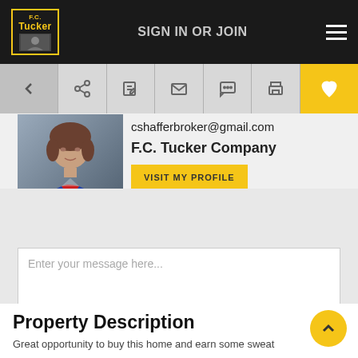SIGN IN OR JOIN
[Figure (photo): Headshot of a woman in a blue blazer and red blouse, agent photo]
cshafferbroker@gmail.com
F.C. Tucker Company
VISIT MY PROFILE
Enter your message here...
REQUEST MORE INFO
Property Description
Great opportunity to buy this home and earn some sweat